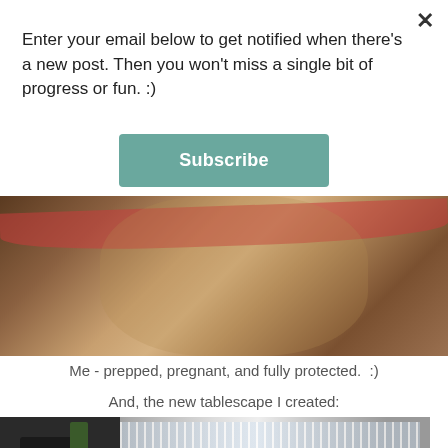Enter your email below to get notified when there's a new post. Then you won't miss a single bit of progress or fun. :)
Subscribe
[Figure (photo): Close-up photo of a person wearing a red garment, prepped and pregnant, showing torso area]
Me - prepped, pregnant, and fully protected.  :)
And, the new tablescape I created:
[Figure (photo): Photo of a room interior with a tablescape, window blinds in background, dark furniture and a green bottle]